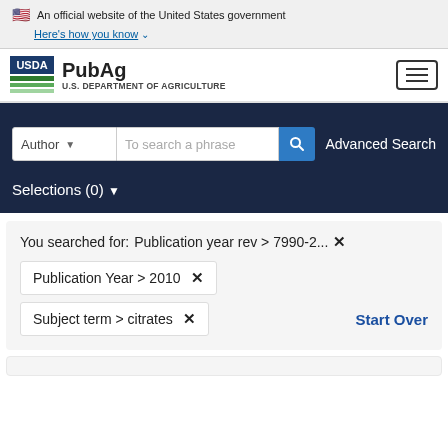An official website of the United States government. Here's how you know
[Figure (logo): USDA PubAg - U.S. Department of Agriculture logo and site header with hamburger menu]
Author  To search a phrase  Advanced Search
Selections (0)
You searched for: Publication year rev > 7990-2... ✕
Publication Year > 2010 ✕
Subject term > citrates ✕
Start Over